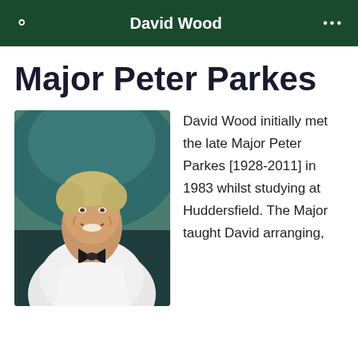David Wood
Major Peter Parkes
[Figure (photo): Portrait photo of Major Peter Parkes, an elderly smiling man with grey-blonde hair wearing a white jacket and black bow tie, against a teal/dark background.]
David Wood initially met the late Major Peter Parkes [1928-2011] in 1983 whilst studying at Huddersfield. The Major taught David arranging,